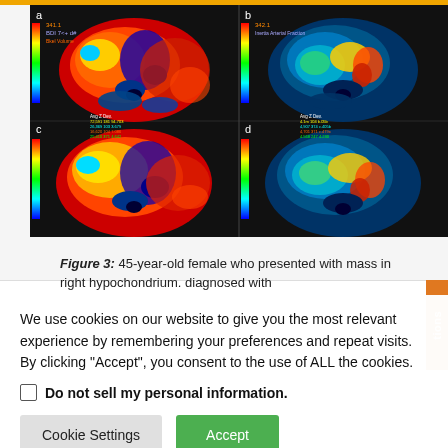[Figure (photo): Four-panel medical imaging display (panels a, b, c, d) showing CT perfusion maps of the abdomen. Panels a and c show blood volume maps (red/blue color scale), panels b and d show arterial input fraction maps (green/yellow/red color scale). Black background with colored overlays of abdominal cross-sections.]
Figure 3: 45-year-old female who presented with mass in right hypochondrium. diagnosed with
We use cookies on our website to give you the most relevant experience by remembering your preferences and repeat visits. By clicking "Accept", you consent to the use of ALL the cookies.
Do not sell my personal information.